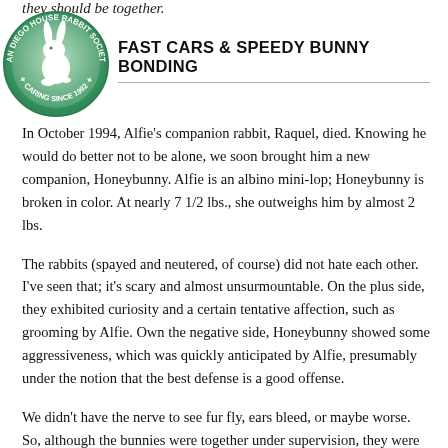they should be together.
[Figure (logo): San Diego House Rabbit Society circular logo with rabbit silhouette, green gradient, text 'SAN DIEGO HOUSE RABBIT SOCIETY' and 'CARING SINCE 1992']
FAST CARS & SPEEDY BUNNY BONDING
In October 1994, Alfie's companion rabbit, Raquel, died. Knowing he would do better not to be alone, we soon brought him a new companion, Honeybunny. Alfie is an albino mini-lop; Honeybunny is broken in color. At nearly 7 1/2 lbs., she outweighs him by almost 2 lbs.
The rabbits (spayed and neutered, of course) did not hate each other. I've seen that; it's scary and almost unsurmountable. On the plus side, they exhibited curiosity and a certain tentative affection, such as grooming by Alfie. Own the negative side, Honeybunny showed some aggressiveness, which was quickly anticipated by Alfie, presumably under the notion that the best defense is a good offense.
We didn't have the nerve to see fur fly, ears bleed, or maybe worse. So, although the bunnies were together under supervision, they were at all other times in separate quarters. My deepest lapine instincts told me these two were meant for each other, but we seemed to be at